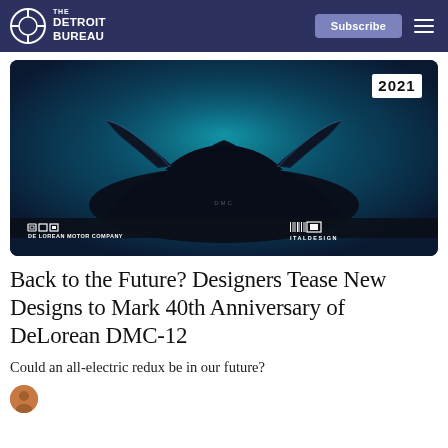THE DETROIT BUREAU | Subscribe
[Figure (photo): Dark teaser image of a DeLorean-style car with gull-wing doors open, lit in teal/blue light. DMC logo and DeLorean Motor Company text at bottom left, Italdesign logo at bottom right. '2021' label in upper right corner.]
Back to the Future? Designers Tease New Designs to Mark 40th Anniversary of DeLorean DMC-12
Could an all-electric redux be in our future?